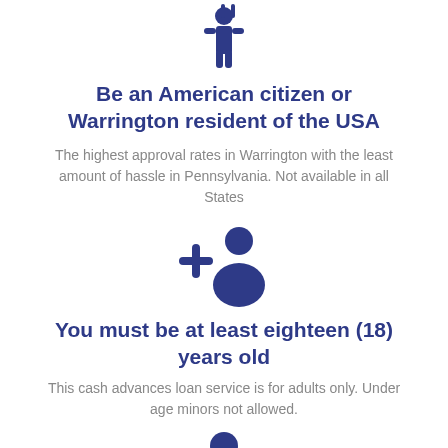[Figure (illustration): Dark blue icon of a person/figure at the top of the page]
Be an American citizen or Warrington resident of the USA
The highest approval rates in Warrington with the least amount of hassle in Pennsylvania. Not available in all States
[Figure (illustration): Dark blue icon of a person-add/add user symbol]
You must be at least eighteen (18) years old
This cash advances loan service is for adults only. Under age minors not allowed.
[Figure (illustration): Dark blue icon of a business person in suit]